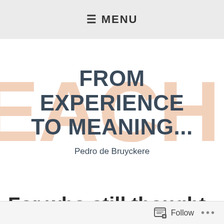≡ MENU
[Figure (illustration): Hero banner with large peach/salmon watermark text 'TEACHING' in the background, overlaid with bold dark teal title 'FROM EXPERIENCE TO MEANING...' and author name 'Pedro de Bruyckere']
FROM EXPERIENCE TO MEANING...
Pedro de Bruyckere
For who still thought there
Follow ...